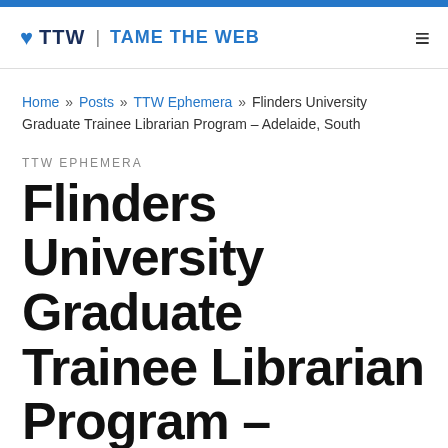TTW | TAME THE WEB
Home » Posts » TTW Ephemera » Flinders University Graduate Trainee Librarian Program – Adelaide, South
TTW EPHEMERA
Flinders University Graduate Trainee Librarian Program – Adelaide, South